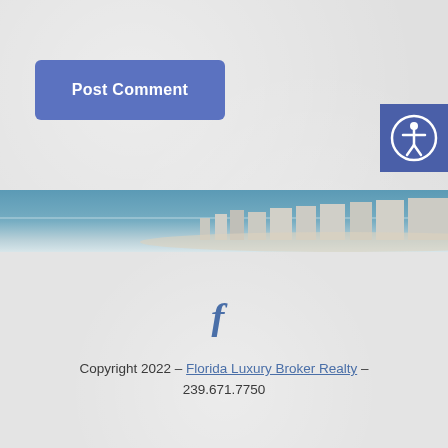Post Comment
[Figure (screenshot): Accessibility icon button - blue square with white figure in circle]
[Figure (photo): Coastal panorama banner showing ocean and beachfront buildings]
[Figure (logo): Facebook 'f' social media icon in blue]
Copyright 2022  –  Florida Luxury Broker Realty – 239.671.7750